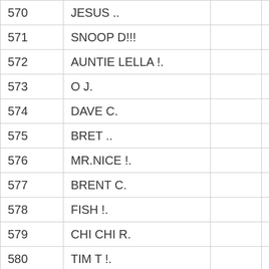| # | Name |  |  | Score |
| --- | --- | --- | --- | --- |
| 570 | JESUS .. |  |  | 36 |
| 571 | SNOOP D!!! |  |  | 36 |
| 572 | AUNTIE LELLA !. |  |  | 36 |
| 573 | O J. |  |  | 36 |
| 574 | DAVE C. |  |  | 36 |
| 575 | BRET .. |  |  | 36 |
| 576 | MR.NICE !. |  |  | 36 |
| 577 | BRENT C. |  |  | 36 |
| 578 | FISH !. |  |  | 36 |
| 579 | CHI CHI R. |  |  | 36 |
| 580 | TIM T !. |  |  | 36 |